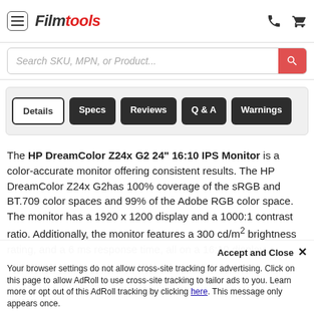Filmtools
Search SKU, MPN, or Product...
Details | Specs | Reviews | Q & A | Warnings
The HP DreamColor Z24x G2 24" 16:10 IPS Monitor is a color-accurate monitor offering consistent results. The HP DreamColor Z24x G2has 100% coverage of the sRGB and BT.709 color spaces and 99% of the Adobe RGB color space. The monitor has a 1920 x 1200 display and a 1000:1 contrast ratio. Additionally, the monitor features a 300 cd/m² brightness rating, and a 6 ms response time, all on a 16:10 display.
Accept and Close ×
Your browser settings do not allow cross-site tracking for advertising. Click on this page to allow AdRoll to use cross-site tracking to tailor ads to you. Learn more or opt out of this AdRoll tracking by clicking here. This message only appears once.